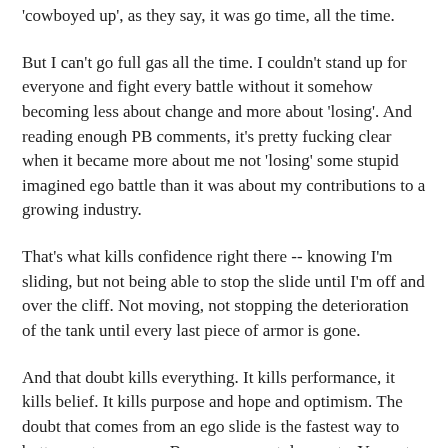'cowboyed up', as they say, it was go time, all the time.
But I can't go full gas all the time. I couldn't stand up for everyone and fight every battle without it somehow becoming less about change and more about 'losing'. And reading enough PB comments, it's pretty fucking clear when it became more about me not 'losing' some stupid imagined ego battle than it was about my contributions to a growing industry.
That's what kills confidence right there -- knowing I'm sliding, but not being able to stop the slide until I'm off and over the cliff. Not moving, not stopping the deterioration of the tank until every last piece of armor is gone.
And that doubt kills everything. It kills performance, it kills belief. It kills purpose and hope and optimism. The doubt that comes from an ego slide is the fastest way to bottom out a career... Because you get desperate. You get greedy. You take chances you don't need to take, and spiral into a pattern of ego-fueled injury and self-hate. And why? Because my feeling of unworthiness, of stagnancy? Lack of productivity?